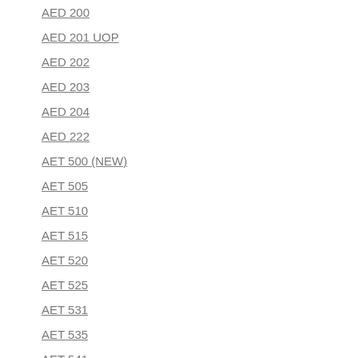AED 200
AED 201 UOP
AED 202
AED 203
AED 204
AED 222
AET 500 (NEW)
AET 505
AET 510
AET 515
AET 520
AET 525
AET 531
AET 535
AET 541
AET 545
AET 550
AET 555
AHS 1001